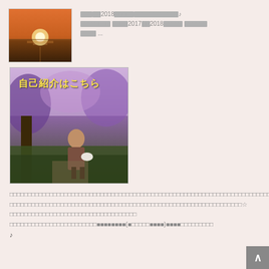[Figure (photo): Sunset over the ocean with bright sun and orange sky]
□□□■■2018■■■■■□□□□□□□□□□□♪ ■■■■■■■■ ■■■■2017■■2018□□□■■ ■■■■■■ ■■■■ ...
[Figure (photo): Woman standing in a garden with purple flowers, with Japanese text overlay reading 自己紹介はこちら]
□□□□□□□□□□□□□□□□□□□□□□□□□□□□□□□□□□□□□□□□□□□□□□□□□□□□□□□□□□□□□□□□□□□□□□□□□□□□□□□□□□□□□□□□□□□□□□□□ ☆ □□□□□□□□□□□□□□□□□□□□□□□□□□□■■■■■■■■(■□□□□□■■■■)■■■■□□□□□□□□□♪